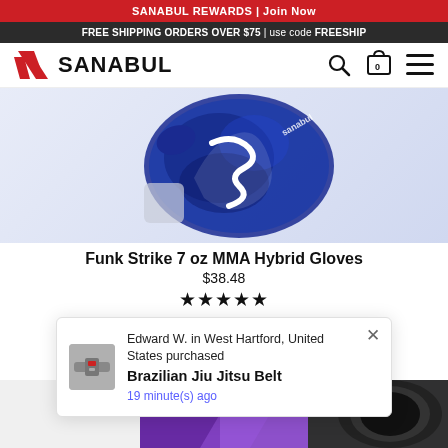SANABUL REWARDS | Join Now
FREE SHIPPING ORDERS OVER $75 | use code FREESHIP
[Figure (logo): Sanabul logo with diagonal slash mark and bold SANABUL text]
[Figure (photo): Blue tie-dye MMA hybrid boxing glove with white Sanabul logo]
Funk Strike 7 oz MMA Hybrid Gloves
$38.48
★★★★★
Edward W. in West Hartford, United States purchased
Brazilian Jiu Jitsu Belt
19 minute(s) ago
[Figure (photo): Bottom section showing purple and black martial arts gear]